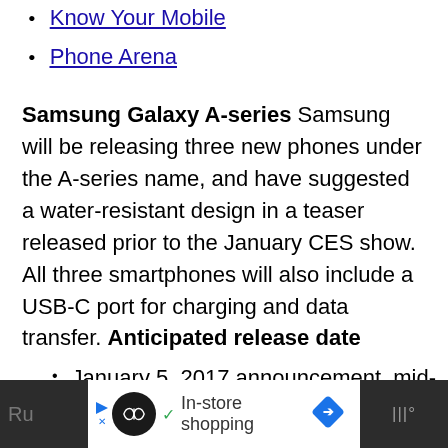Know Your Mobile
Phone Arena
Samsung Galaxy A-series Samsung will be releasing three new phones under the A-series name, and have suggested a water-resistant design in a teaser released prior to the January CES show. All three smartphones will also include a USB-C port for charging and data transfer. Anticipated release date
January 5, 2017 announcement, mid-January release